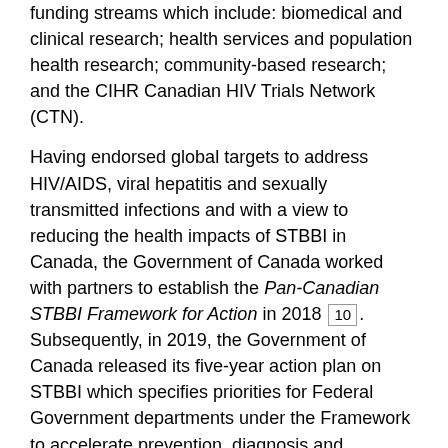funding streams which include: biomedical and clinical research; health services and population health research; community-based research; and the CIHR Canadian HIV Trials Network (CTN).
Having endorsed global targets to address HIV/AIDS, viral hepatitis and sexually transmitted infections and with a view to reducing the health impacts of STBBI in Canada, the Government of Canada worked with partners to establish the Pan-Canadian STBBI Framework for Action in 2018 [10]. Subsequently, in 2019, the Government of Canada released its five-year action plan on STBBI which specifies priorities for Federal Government departments under the Framework to accelerate prevention, diagnosis and treatment of STBBI [11]. CIHR has a mandate, through the Research Initiative, to deliver on the following research commitments outlined in the Action Plan:
Box 2. Key mandates: CIHR [14]: To excel, according to internationally accepted standards of scientific excellence, in the creation of new knowledge and its translation into